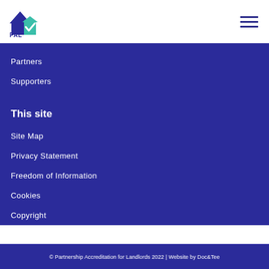[Figure (logo): PAL (Partnership Accreditation for Landlords) logo with house icon in blue and teal with checkmark]
Partners
Supporters
This site
Site Map
Privacy Statement
Freedom of Information
Cookies
Copyright
© Partnership Accreditation for Landlords 2022 | Website by Doc&Tee